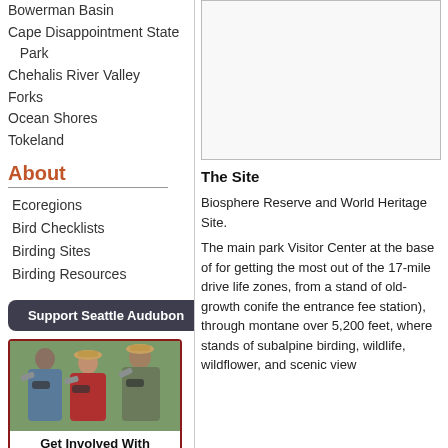Bowerman Basin
Cape Disappointment State Park
Chehalis River Valley
Forks
Ocean Shores
Tokeland
About
Ecoregions
Bird Checklists
Birding Sites
Birding Resources
Support Seattle Audubon
[Figure (photo): Photo of three people using binoculars, birdwatching outdoors]
Get Involved With Seattle Audubon!
Go Birding!
[Figure (other): Large empty image/map placeholder box on right side]
The Site
Biosphere Reserve and World Heritage Site.
The main park Visitor Center at the base of for getting the most out of the 17-mile drive life zones, from a stand of old-growth conife the entrance fee station), through montane over 5,200 feet, where stands of subalpine birding, wildlife, wildflower, and scenic view